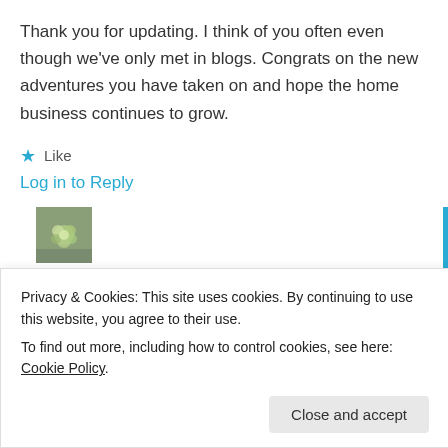Thank you for updating. I think of you often even though we've only met in blogs. Congrats on the new adventures you have taken on and hope the home business continues to grow.
★ Like
Log in to Reply
[Figure (photo): User avatar thumbnail showing green floral arrangement on grey background]
mainelyhopeful · May 19, 2014
Privacy & Cookies: This site uses cookies. By continuing to use this website, you agree to their use.
To find out more, including how to control cookies, see here: Cookie Policy
Close and accept